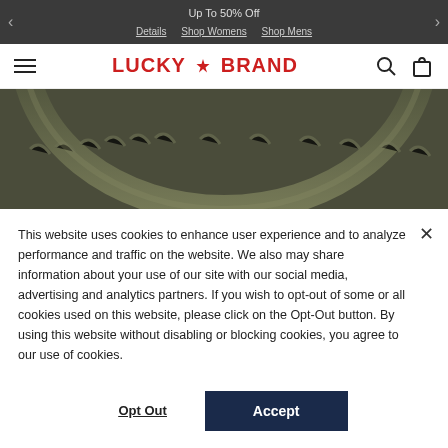Up To 50% Off  Details  Shop Womens  Shop Mens
[Figure (screenshot): Lucky Brand website navigation bar with hamburger menu, red LUCKY * BRAND logo, search and bag icons]
[Figure (photo): Close-up photo of an olive-green twisted rope bracelet on a dark gray background]
This website uses cookies to enhance user experience and to analyze performance and traffic on the website. We also may share information about your use of our site with our social media, advertising and analytics partners. If you wish to opt-out of some or all cookies used on this website, please click on the Opt-Out button. By using this website without disabling or blocking cookies, you agree to our use of cookies.
Opt Out  Accept